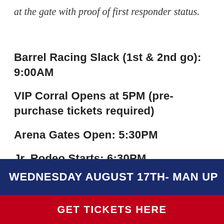at the gate with proof of first responder status.
Barrel Racing Slack (1st & 2nd go): 9:00AM
VIP Corral Opens at 5PM (pre-purchase tickets required)
Arena Gates Open: 5:30PM
Jr. Rodeo Starts: 6:30PM
Pro Rodeo Begins: 7:45PM
WEDNESDAY AUGUST 17TH- MAN UP
GET TICKETS HERE